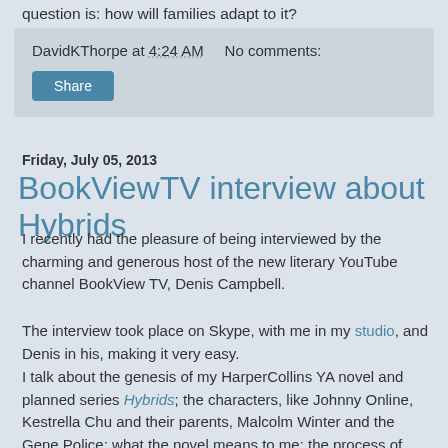question is: how will families adapt to it?
DavidKThorpe at 4:24 AM   No comments:
Share
Friday, July 05, 2013
BookViewTV interview about Hybrids
I recently had the pleasure of being interviewed by the charming and generous host of the new literary YouTube channel BookView TV, Denis Campbell.
The interview took place on Skype, with me in my studio, and Denis in his, making it very easy.
I talk about the genesis of my HarperCollins YA novel and planned series Hybrids; the characters, like Johnny Online, Kestrella Chu and their parents, Malcolm Winter and the Gene Police; what the novel means to me; the process of writing; and my hopes for the future of the series and a television/film project.